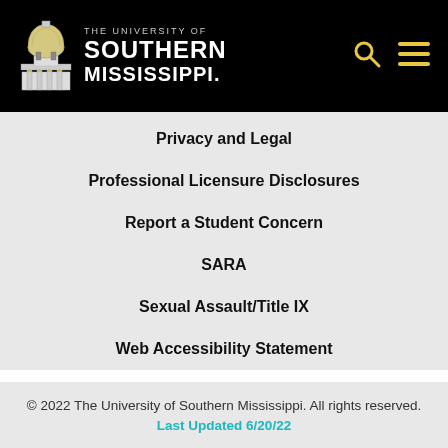THE UNIVERSITY OF SOUTHERN MISSISSIPPI
Privacy and Legal
Professional Licensure Disclosures
Report a Student Concern
SARA
Sexual Assault/Title IX
Web Accessibility Statement
© 2022 The University of Southern Mississippi. All rights reserved. Last Updated 6/20/22